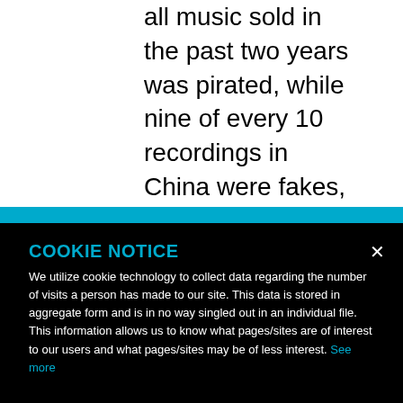all music sold in the past two years was pirated, while nine of every 10 recordings in China were fakes, industry data showed.
COOKIE NOTICE
We utilize cookie technology to collect data regarding the number of visits a person has made to our site. This data is stored in aggregate form and is in no way singled out in an individual file. This information allows us to know what pages/sites are of interest to our users and what pages/sites may be of less interest. See more